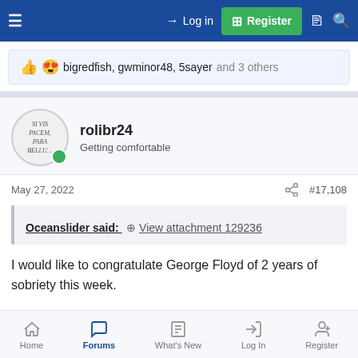≡  → Log in  ⊞ Register
👍 😍 bigredfish, gwminor48, 5sayer and 3 others
rolibr24
Getting comfortable
May 27, 2022  #17,108
Oceanslider said: ↗
View attachment 129236
I would like to congratulate George Floyd of 2 years of sobriety this week.
Home  Forums  What's New  Log In  Register